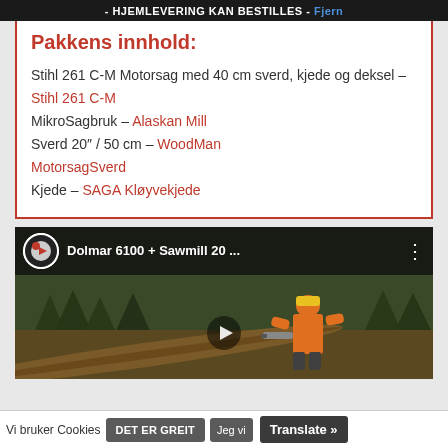- HJEMLEVERING KAN BESTILLES - Fjern
Pakkens innhold:
Stihl 261 C-M Motorsag med 40 cm sverd, kjede og deksel – Stihl 261 C-M
MikroSagbruk – Alaskan Mill
Sverd 20″ / 50 cm – WoodMan MotorsagSverd
Kjede – SAGA Kløyvekjede
[Figure (screenshot): YouTube video thumbnail showing a person in orange safety gear using a chainsaw on a log outdoors. Video title: Dolmar 6100 + Sawmill 20 ...]
Vi bruker Cookies  DET ER GREIT  Jeg vi  Translate »